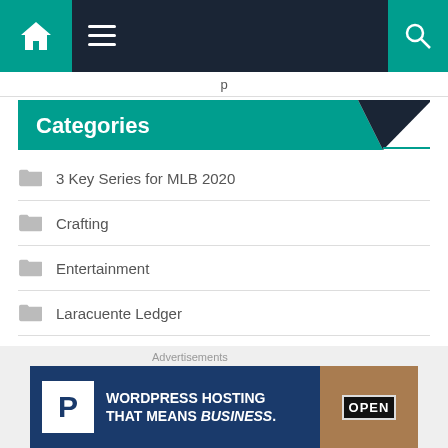Navigation bar with home icon, menu icon, and search icon
Categories
3 Key Series for MLB 2020
Crafting
Entertainment
Laracuente Ledger
Laracuente Ledger Podcast
[Figure (screenshot): WordPress Hosting advertisement banner reading WORDPRESS HOSTING THAT MEANS BUSINESS with a P logo and an OPEN sign photo]